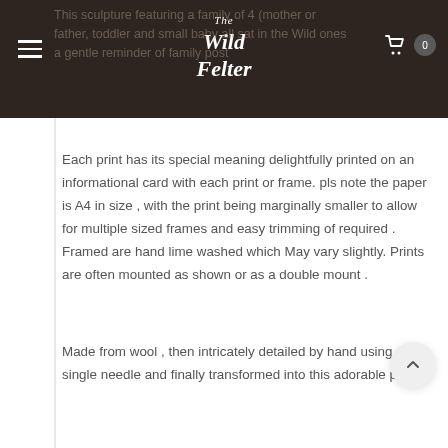The Wild Felter
Each print has its special meaning delightfully printed on an informational card with each print or frame. pls note the paper is A4 in size , with the print being marginally smaller to allow for multiple sized frames and easy trimming of required . Framed are hand lime washed which May vary slightly. Prints are often mounted as shown or as a double mount .
Made from wool , then intricately detailed by hand using a single needle and finally transformed into this adorable print.